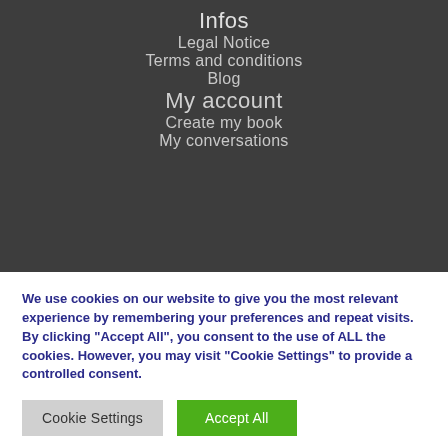Infos
Legal Notice
Terms and conditions
Blog
My account
Create my book
My conversations
We use cookies on our website to give you the most relevant experience by remembering your preferences and repeat visits. By clicking "Accept All", you consent to the use of ALL the cookies. However, you may visit "Cookie Settings" to provide a controlled consent.
Cookie Settings | Accept All